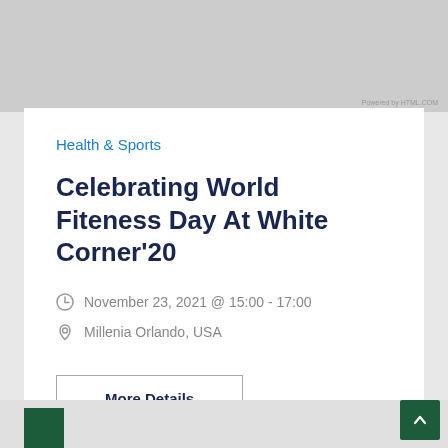[Figure (photo): Gray banner image placeholder at top of page with 'Powered by HTML.COM' watermark in bottom right]
Health & Sports
Celebrating World Fiteness Day At White Corner'20
November 23, 2021 @ 15:00 - 17:00
Millenia Orlando, USA
More Details